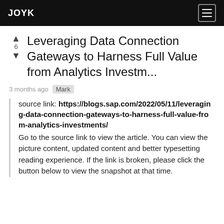JOYK
▲ 6 ▼ Leveraging Data Connection Gateways to Harness Full Value from Analytics Investm...
3 months ago  Mark
source link: https://blogs.sap.com/2022/05/11/leveraging-data-connection-gateways-to-harness-full-value-from-analytics-investments/
Go to the source link to view the article. You can view the picture content, updated content and better typesetting reading experience. If the link is broken, please click the button below to view the snapshot at that time.